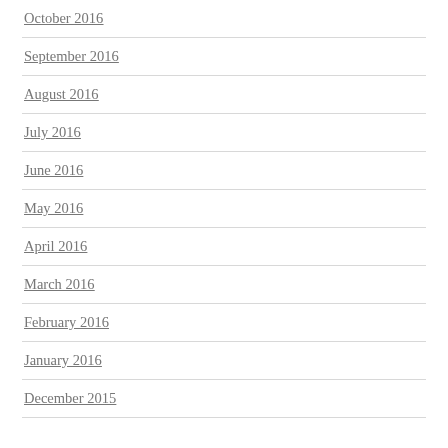October 2016
September 2016
August 2016
July 2016
June 2016
May 2016
April 2016
March 2016
February 2016
January 2016
December 2015